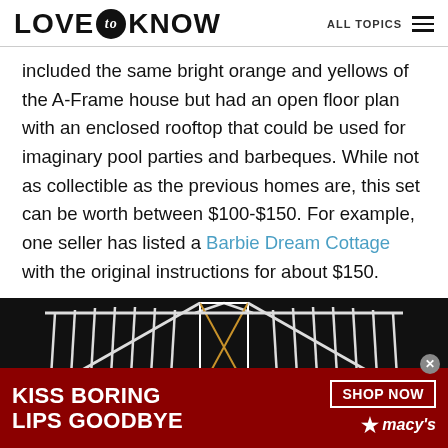LOVE to KNOW   ALL TOPICS
included the same bright orange and yellows of the A-Frame house but had an open floor plan with an enclosed rooftop that could be used for imaginary pool parties and barbeques. While not as collectible as the previous homes are, this set can be worth between $100-$150. For example, one seller has listed a Barbie Dream Cottage with the original instructions for about $150.
[Figure (photo): Photo of a Barbie dream house model with white railings and geometric roof pattern on a dark background, partially obscured by an advertisement overlay for Macy's lip products.]